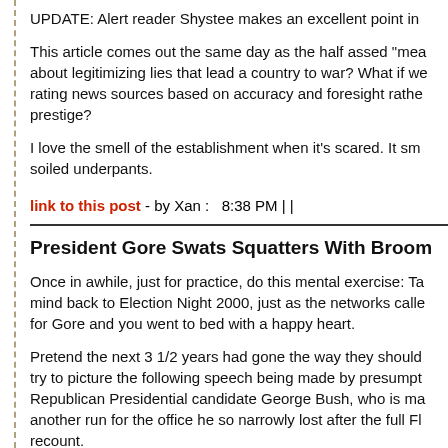UPDATE: Alert reader Shystee makes an excellent point in
This article comes out the same day as the half assed "mea about legitimizing lies that lead a country to war? What if we rating news sources based on accuracy and foresight rathe prestige?
I love the smell of the establishment when it's scared. It sm soiled underpants.
link to this post - by Xan :   8:38 PM | |
President Gore Swats Squatters With Broom
Once in awhile, just for practice, do this mental exercise: Ta mind back to Election Night 2000, just as the networks calle for Gore and you went to bed with a happy heart.
Pretend the next 3 1/2 years had gone the way they should try to picture the following speech being made by presumpt Republican Presidential candidate George Bush, who is ma another run for the office he so narrowly lost after the full Fl recount.